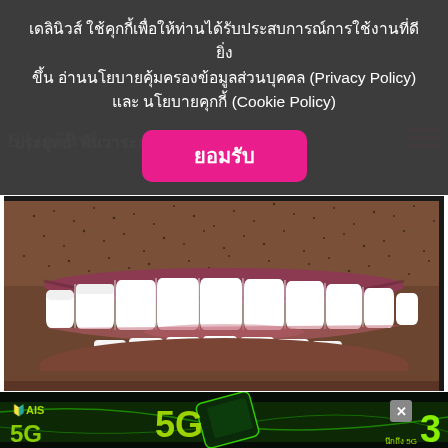เดลินิวส์ ใช้คุกกี้เพื่อให้ท่านได้รับประสบการณ์การใช้งานที่ดียิ่งขึ้น อ่านนโยบายคุ้มครองข้อมูลส่วนบุคคล (Privacy Policy) และ นโยบายคุกกี้ (Cookie Policy)
ยอมรับ
'ประยุทธ์' พ้นวาระธน
[Figure (photo): Close-up photo of a man's smiling mouth showing white teeth and stubble beard]
[Figure (photo): AIS 5G advertisement banner with green neon design, showing '5G' text and '3' partially visible, with 'นึกถึง 5G' text]